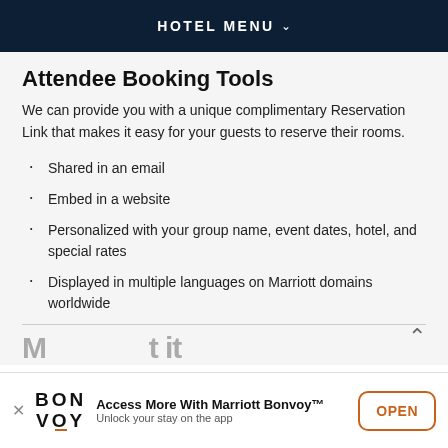HOTEL MENU
Attendee Booking Tools
We can provide you with a unique complimentary Reservation Link that makes it easy for your guests to reserve their rooms.
Shared in an email
Embed in a website
Personalized with your group name, event dates, hotel, and special rates
Displayed in multiple languages on Marriott domains worldwide
Access More With Marriott Bonvoy™ Unlock your stay on the app OPEN